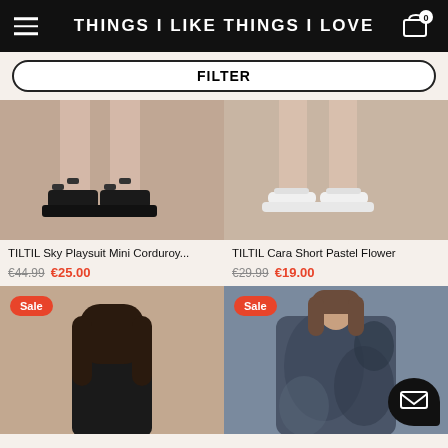THINGS I LIKE THINGS I LOVE
FILTER
[Figure (photo): Close-up of model's legs wearing black chunky platform sandals on beige background]
[Figure (photo): Close-up of model's legs wearing white platform slides on beige background]
TILTIL Sky Playsuit Mini Corduroy...
€44.99  €25.00
TILTIL Cara Short Pastel Flower
€29.99  €19.00
[Figure (photo): Model with long dark hair wearing black outfit, Sale badge, beige background]
[Figure (photo): Model wearing tie-dye dark blue oversized dress, Sale badge, with chat button overlay]